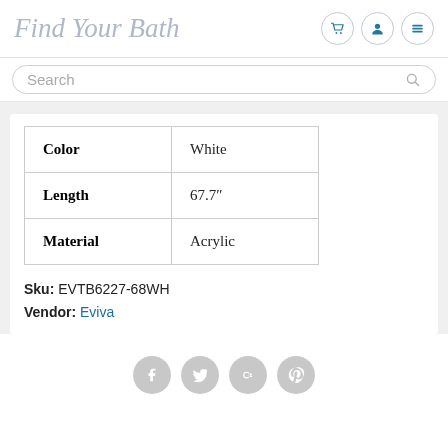Find Your Bath
| Color | White |
| Length | 67.7" |
| Material | Acrylic |
Sku: EVTB6227-68WH
Vendor: Eviva